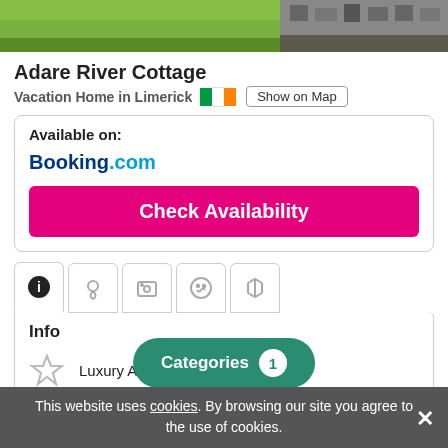[Figure (photo): Two photos side by side: left shows green grass/garden, right shows stone wall]
Adare River Cottage
Vacation Home in Limerick  [Irish flag]  Show on Map
Available on:
Booking.com
Check Availability
Info
Luxury Accommodation
Accommodation with Parking
Accessible Accommodation
Categories 1
This website uses cookies. By browsing our site you agree to the use of cookies.